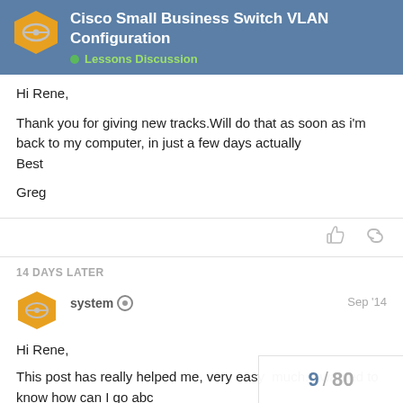Cisco Small Business Switch VLAN Configuration — Lessons Discussion
Hi Rene,

Thank you for giving new tracks.Will do that as soon as i'm back to my computer, in just a few days actually
Best

Greg
14 DAYS LATER
system  Sep '14
Hi Rene,
This post has really helped me, very easy much. I wanted to know how can I go abc